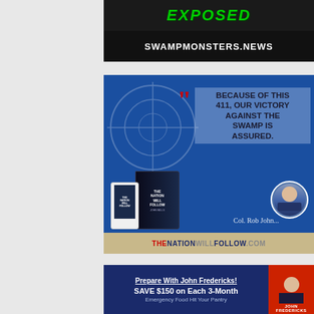[Figure (illustration): Swamp Monsters News advertisement banner showing 'EXPOSED' text in green with SWAMPMONSTERS.NEWS URL on black background]
[Figure (illustration): The Nation Will Follow book advertisement featuring quote 'Because of this 411, our victory against the swamp is assured.' by Col. Rob Johnson, with book covers and THENATIONWILLFOLLOW.COM URL]
[Figure (illustration): Prepare With John Fredericks advertisement: 'SAVE $150 on Each 3-Month Emergency Food Hit Your Pantry' with photo of John Fredericks on red background]